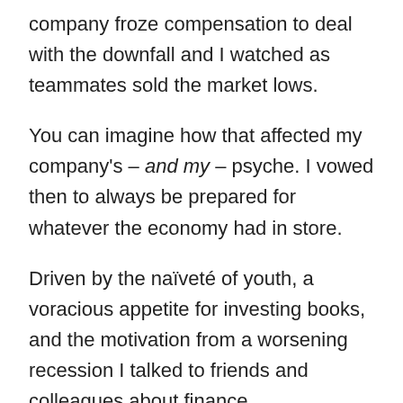company froze compensation to deal with the downfall and I watched as teammates sold the market lows.
You can imagine how that affected my company's – and my – psyche. I vowed then to always be prepared for whatever the economy had in store.
Driven by the naïveté of youth, a voracious appetite for investing books, and the motivation from a worsening recession I talked to friends and colleagues about finance.
More importantly, I wrote emails.